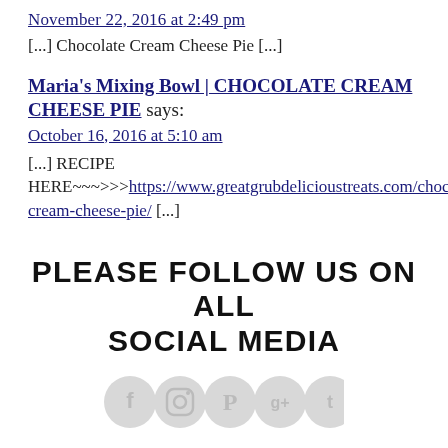November 22, 2016 at 2:49 pm
[...] Chocolate Cream Cheese Pie [...]
Maria's Mixing Bowl | CHOCOLATE CREAM CHEESE PIE says:
October 16, 2016 at 5:10 am
[...] RECIPE HERE~~~>>>https://www.greatgrubdelicioustreats.com/chocolate-cream-cheese-pie/ [...]
PLEASE FOLLOW US ON ALL SOCIAL MEDIA
[Figure (other): Row of social media icon circles (Facebook, Instagram, Pinterest, Google+, Twitter) shown in light gray]